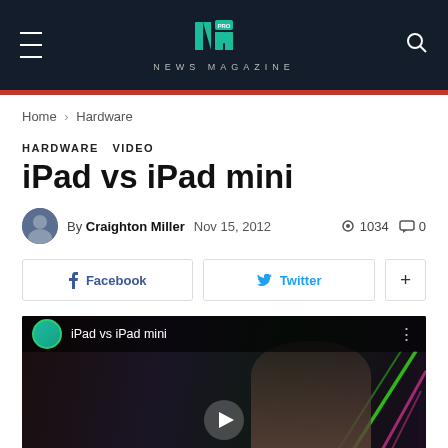NM PRO NEWS MAGAZINE
Home › Hardware
HARDWARE  VIDEO
iPad vs iPad mini
By Craighton Miller  Nov 15, 2012  1034  0
Facebook  Twitter  +
[Figure (screenshot): YouTube video thumbnail showing 'iPad vs iPad mini' with a person's face visible and colorful background lines, with a play button overlay]